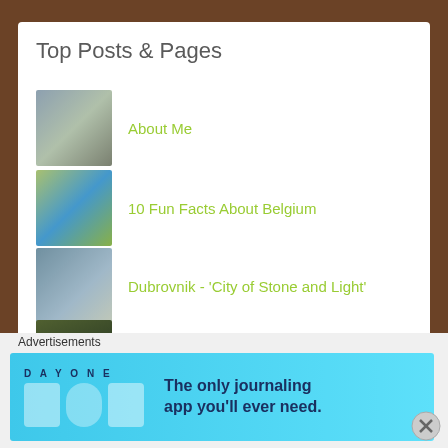Top Posts & Pages
About Me
10 Fun Facts About Belgium
Dubrovnik - 'City of Stone and Light'
Weekly Photo Challege - Silhouette
Travel theme: Benches
Advertisements
[Figure (screenshot): DAY ONE app advertisement banner: The only journaling app you'll ever need.]